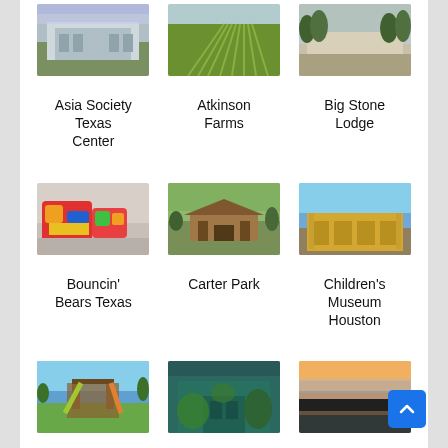[Figure (photo): Photo of Asia Society Texas Center building]
Asia Society Texas Center
[Figure (photo): Photo of Atkinson Farms agricultural fields]
Atkinson Farms
[Figure (photo): Photo of Big Stone Lodge]
Big Stone Lodge
[Figure (photo): Photo of Bouncin' Bears Texas inflatable play area]
Bouncin' Bears Texas
[Figure (photo): Photo of Carter Park pavilion]
Carter Park
[Figure (photo): Photo of Children's Museum Houston entrance]
Children's Museum Houston
[Figure (photo): Photo of Collins Park playground]
Collins Park
[Figure (photo): Photo of Crazy Mama's Celestial Emporium storefront]
Crazy Mama's Celestial Emporium
[Figure (photo): Photo of Cypress Creek Park At Timberlane at sunset]
Cypress Creek Park At Timberlane